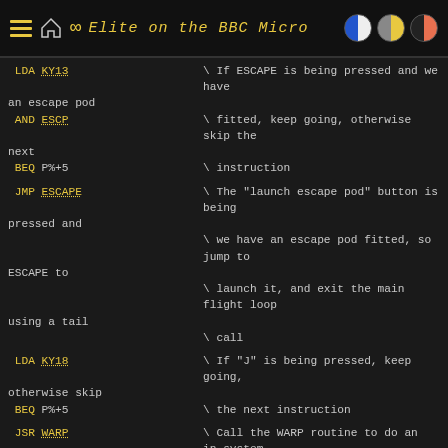Elite on the BBC Micro
LDA KY13    \ If ESCAPE is being pressed and we have an escape pod
AND ESCP    \ fitted, keep going, otherwise skip the next
BEQ P%+5    \ instruction
JMP ESCAPE  \ The "launch escape pod" button is being pressed and
             \ we have an escape pod fitted, so jump to ESCAPE to
             \ launch it, and exit the main flight loop using a tail
             \ call
LDA KY18    \ If "J" is being pressed, keep going, otherwise skip
BEQ P%+5    \ the next instruction
JSR WARP    \ Call the WARP routine to do an in-system jump
LDA KY17    \ If "E" is being pressed and we have an E.C.M. fitted,
AND ECM     \ keep going, otherwise jump down to MA64 to skip the
BEQ MA64    \ following
LDA ECMA    \ If ECMA is non-zero, that means an